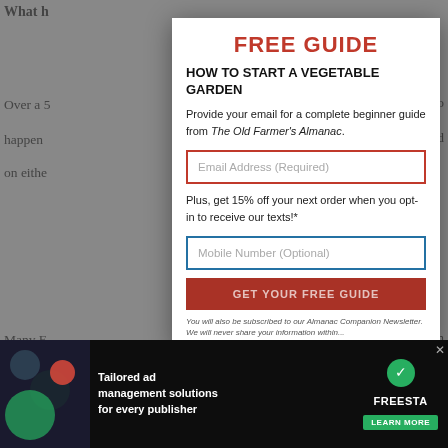What I...
Over a 5... it just so happen... celebrated on eithe...
Many E... ian calenda... the observa... and May 8.
FREE GUIDE
HOW TO START A VEGETABLE GARDEN
Provide your email for a complete beginner guide from The Old Farmer's Almanac.
Email Address (Required)
Plus, get 15% off your next order when you opt-in to receive our texts!*
Mobile Number (Optional)
GET YOUR FREE GUIDE
Year a...
[Figure (screenshot): Advertisement banner: Tailored ad management solutions for every publisher - FREESTA logo with Learn More button]
You will also be subscribed to our Almanac Companion Newsletter. We will never share your information within...